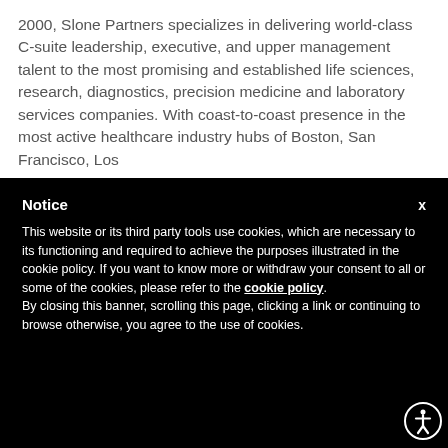2000, Slone Partners specializes in delivering world-class C-suite leadership, executive, and upper management talent to the most promising and established life sciences, research, diagnostics, precision medicine and laboratory services companies. With coast-to-coast presence in the most active healthcare industry hubs of Boston, San Francisco, Los
Notice
This website or its third party tools use cookies, which are necessary to its functioning and required to achieve the purposes illustrated in the cookie policy. If you want to know more or withdraw your consent to all or some of the cookies, please refer to the cookie policy.
By closing this banner, scrolling this page, clicking a link or continuing to browse otherwise, you agree to the use of cookies.